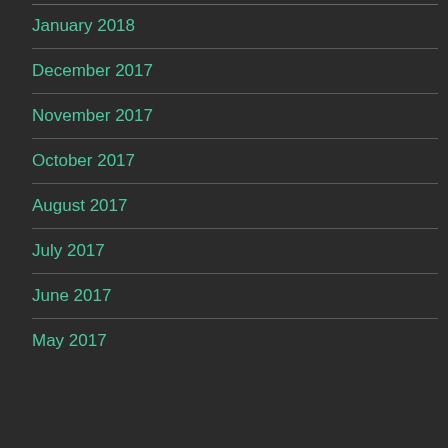January 2018
December 2017
November 2017
October 2017
August 2017
July 2017
June 2017
May 2017